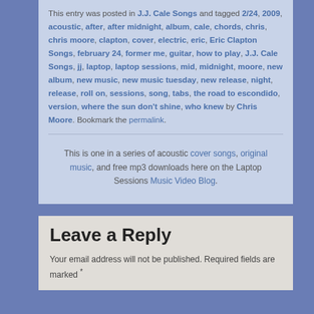This entry was posted in J.J. Cale Songs and tagged 2/24, 2009, acoustic, after, after midnight, album, cale, chords, chris, chris moore, clapton, cover, electric, eric, Eric Clapton Songs, february 24, former me, guitar, how to play, J.J. Cale Songs, jj, laptop, laptop sessions, mid, midnight, moore, new album, new music, new music tuesday, new release, night, release, roll on, sessions, song, tabs, the road to escondido, version, where the sun don't shine, who knew by Chris Moore. Bookmark the permalink.
This is one in a series of acoustic cover songs, original music, and free mp3 downloads here on the Laptop Sessions Music Video Blog.
Leave a Reply
Your email address will not be published. Required fields are marked *